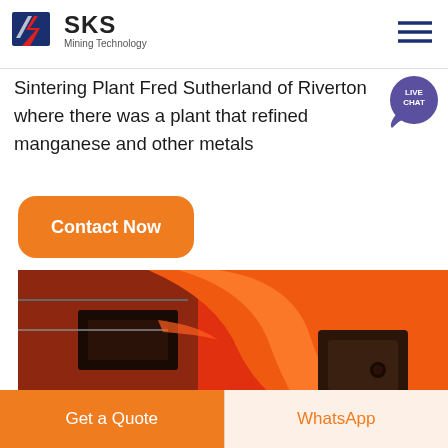[Figure (logo): SKS Mining Technology logo with red and blue zigzag icon and bold SKS text]
Sintering Plant Fred Sutherland of Riverton where there was a plant that refined manganese and other metals
[Figure (infographic): Orange rounded rectangle button labeled 'Contact Now' in white bold text]
[Figure (photo): Close-up photograph of red-painted industrial mining machinery parts with metal components]
[Figure (other): Bottom navigation bar with orange 'Get a Quote' button and light 'WhatsApp' button]